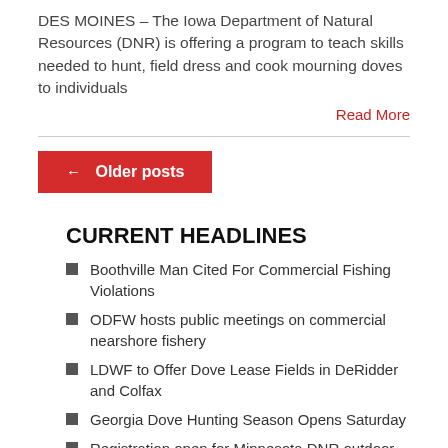DES MOINES – The Iowa Department of Natural Resources (DNR) is offering a program to teach skills needed to hunt, field dress and cook mourning doves to individuals
Read More
← Older posts
CURRENT HEADLINES
Boothville Man Cited For Commercial Fishing Violations
ODFW hosts public meetings on commercial nearshore fishery
LDWF to Offer Dove Lease Fields in DeRidder and Colfax
Georgia Dove Hunting Season Opens Saturday
Registration open for Minnesota DNR outdoor skills webinars